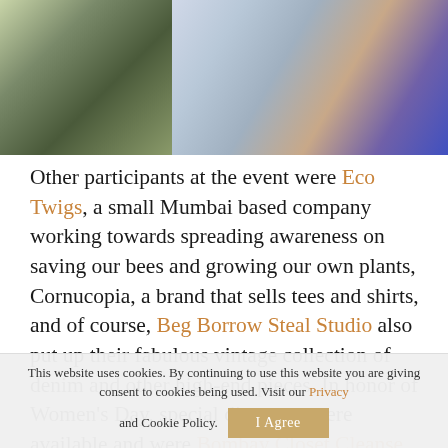[Figure (photo): Two-panel photo strip: left panel shows people at an outdoor market with plants and potted greenery; right panel shows clothing rack with colorful garments and a woman in blue browsing.]
Other participants at the event were Eco Twigs, a small Mumbai based company working towards spreading awareness on saving our bees and growing our own plants, Cornucopia, a brand that sells tees and shirts, and of course, Beg Borrow Steal Studio also put up their fabulous vintage collection of denim and other high-end pieces. In honor of Women's Day, special discounts were available and were Bombay Closet Cleanse happy to also display and sell a wide array of items for every kind of shopper. The pop-up
This website uses cookies. By continuing to use this website you are giving consent to cookies being used. Visit our Privacy and Cookie Policy.  I Agree